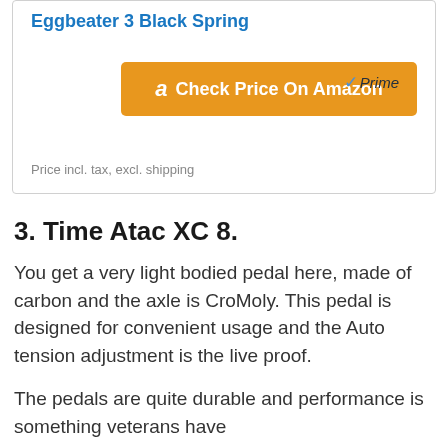Eggbeater 3 Black Spring
[Figure (other): Amazon Prime badge and Check Price On Amazon button]
Price incl. tax, excl. shipping
3. Time Atac XC 8.
You get a very light bodied pedal here, made of carbon and the axle is CroMoly. This pedal is designed for convenient usage and the Auto tension adjustment is the live proof.
The pedals are quite durable and performance is something veterans have